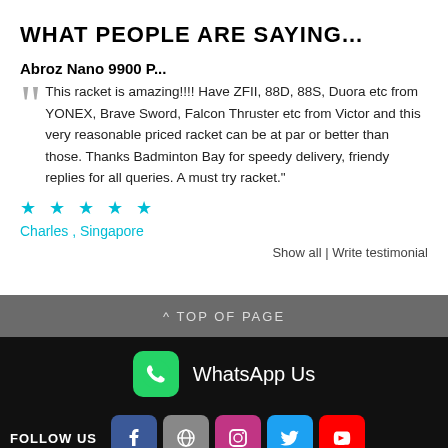WHAT PEOPLE ARE SAYING...
Abroz Nano 9900 P...
This racket is amazing!!!! Have ZFII, 88D, 88S, Duora etc from YONEX, Brave Sword, Falcon Thruster etc from Victor and this very reasonable priced racket can be at par or better than those. Thanks Badminton Bay for speedy delivery, friendy replies for all queries. A must try racket."
★ ★ ★ ★ ★
Charles , Singapore
Show all | Write testimonial
^ TOP OF PAGE
[Figure (logo): WhatsApp icon and WhatsApp Us text]
WhatsApp Us
FOLLOW US
[Figure (logo): Social media icons: Facebook, WordPress, Instagram, Twitter, YouTube]